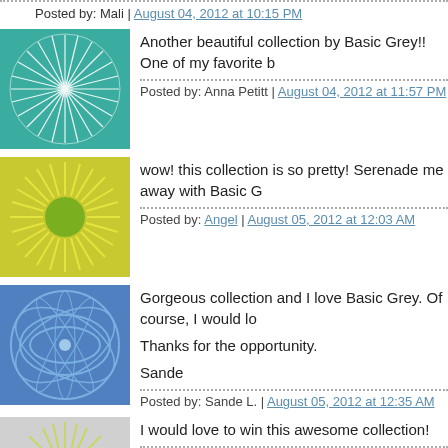Posted by: Mali | August 04, 2012 at 10:15 PM
[Figure (illustration): Avatar with teal/blue abstract pattern]
Another beautiful collection by Basic Grey!! One of my favorite b
Posted by: Anna Petitt | August 04, 2012 at 11:57 PM
[Figure (illustration): Avatar with green sunburst pattern on teal]
wow! this collection is so pretty! Serenade me away with Basic G
Posted by: Angel | August 05, 2012 at 12:03 AM
[Figure (illustration): Avatar with blue concentric oval pattern]
Gorgeous collection and I love Basic Grey. Of course, I would lo

Thanks for the opportunity.

Sande
Posted by: Sande L. | August 05, 2012 at 12:35 AM
[Figure (illustration): Avatar with yellow-green sunburst pattern]
I would love to win this awesome collection!
Posted by: Melinda Wilson | August 05, 2012 at 12:51 AM